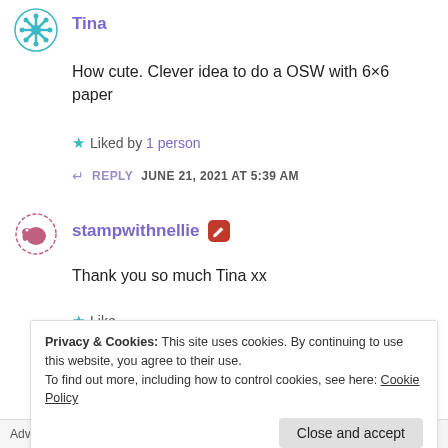[Figure (illustration): Teal snowflake/gear avatar icon for user Tina]
Tina
How cute. Clever idea to do a OSW with 6×6 paper
★ Liked by 1 person
↵ REPLY   JUNE 21, 2021 AT 5:39 AM
[Figure (illustration): Pink elephant avatar icon for user stampwithnellie]
stampwithnellie
Thank you so much Tina xx
★ Like
Privacy & Cookies: This site uses cookies. By continuing to use this website, you agree to their use.
To find out more, including how to control cookies, see here: Cookie Policy
Close and accept
Advertisements